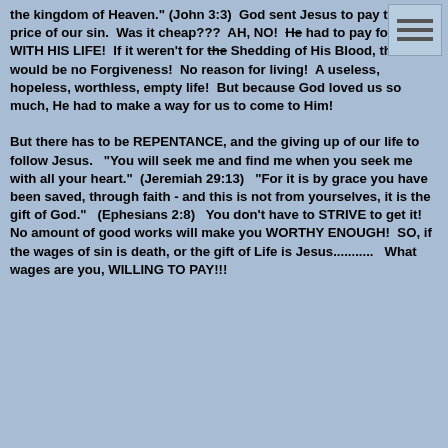the kingdom of Heaven." (John 3:3) God sent Jesus to pay the price of our sin. Was it cheap??? AH, NO! He had to pay for it WITH HIS LIFE! If it weren't for the Shedding of His Blood, there would be no Forgiveness! No reason for living! A useless, hopeless, worthless, empty life! But because God loved us so much, He had to make a way for us to come to Him!
But there has to be REPENTANCE, and the giving up of our life to follow Jesus. "You will seek me and find me when you seek me with all your heart." (Jeremiah 29:13) "For it is by grace you have been saved, through faith - and this is not from yourselves, it is the gift of God." (Ephesians 2:8) You don't have to STRIVE to get it! No amount of good works will make you WORTHY ENOUGH! SO, if the wages of sin is death, or the gift of Life is Jesus........... What wages are you, WILLING TO PAY!!!